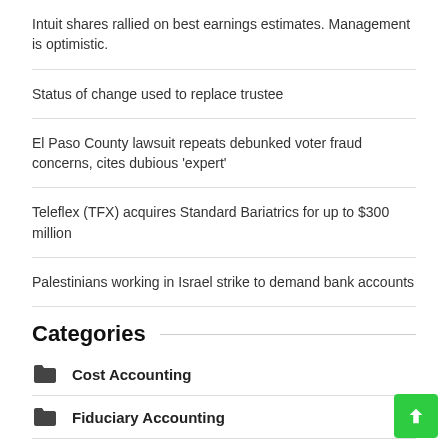Intuit shares rallied on best earnings estimates. Management is optimistic.
Status of change used to replace trustee
El Paso County lawsuit repeats debunked voter fraud concerns, cites dubious 'expert'
Teleflex (TFX) acquires Standard Bariatrics for up to $300 million
Palestinians working in Israel strike to demand bank accounts
Categories
Cost Accounting
Fiduciary Accounting
Forensic Accounting
Money